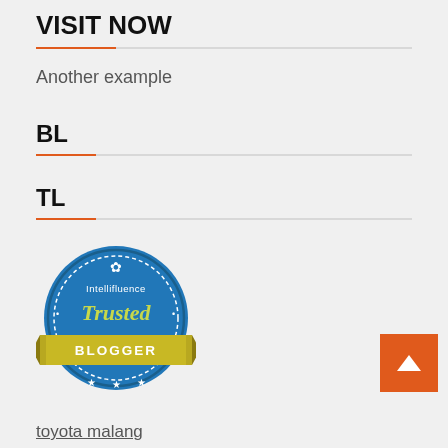VISIT NOW
Another example
BL
TL
[Figure (logo): Intellifluence Trusted Blogger badge — circular blue badge with yellow ribbon banner reading BLOGGER]
toyota malang
ms glow malang